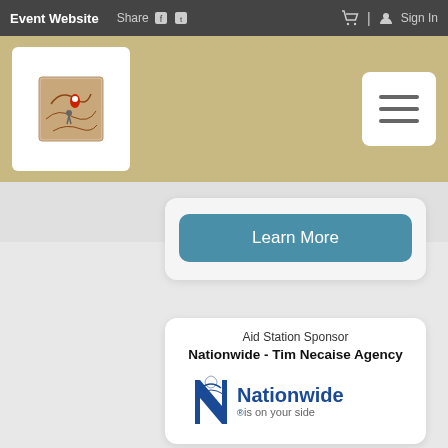Event Website   Share   Sign In
[Figure (logo): Event logo card with map/race graphic on gold banner background, with hamburger menu button]
Learn More
Aid Station Sponsor
Nationwide - Tim Necaise Agency
[Figure (logo): Nationwide Insurance logo - blue N with eagle and text 'Nationwide is on your side']
Tim Necaise Agency
(252) 223-4724